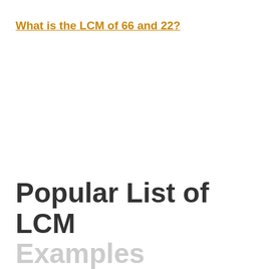What is the LCM of 66 and 22?
Popular List of LCM Examples